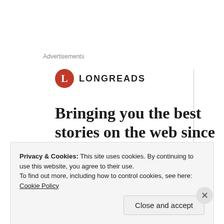Advertisements
[Figure (logo): Longreads logo: red circle with white 'L', followed by 'LONGREADS' in bold sans-serif capital letters]
Bringing you the best stories on the web since 2009
Wanda Dixon
Privacy & Cookies: This site uses cookies. By continuing to use this website, you agree to their use.
To find out more, including how to control cookies, see here: Cookie Policy
Close and accept